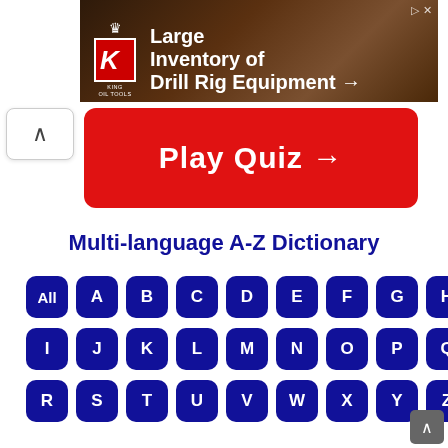[Figure (screenshot): Advertisement banner for King Oil Tools showing 'Large Inventory of Drill Rig Equipment →' with red King Oil Tools logo and drill bit background image]
[Figure (screenshot): Red 'Play Quiz →' button]
Multi-language A-Z Dictionary
All A B C D E F G H I J K L M N O P Q R S T U V W X Y Z — alphabet navigation buttons